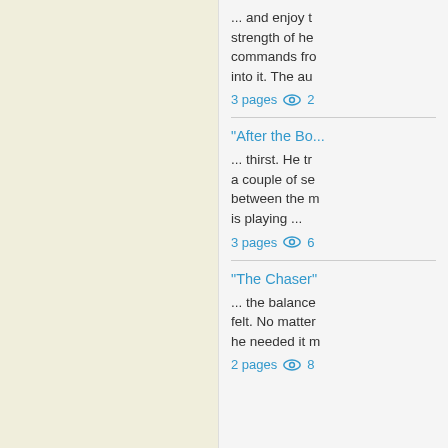... and enjoy the strength of he commands fro into it. The au
3 pages  👁 2
"After the Bo..."
... thirst. He tr a couple of se between the m is playing ...
3 pages  👁 6
"The Chaser"
... the balance felt. No matter he needed it m
2 pages  👁 8